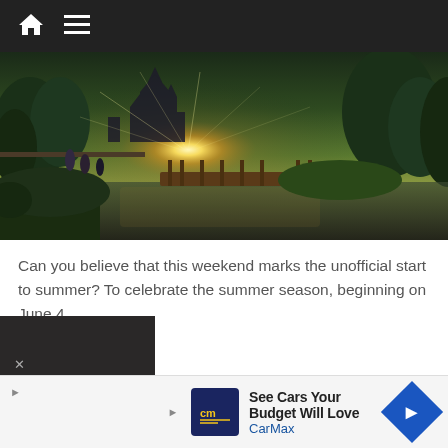Navigation bar with home icon and menu icon
[Figure (photo): Panoramic photo of a Disney-style castle at sunset with a wooden bridge, water reflection, and lush green trees]
Can you believe that this weekend marks the unofficial start to summer? To celebrate the summer season, beginning on June 4,…
Special Annual Passholder Ticket Offers at Walt Disney World
[Figure (screenshot): Advertisement banner for CarMax: 'See Cars Your Budget Will Love' with CarMax logo and navigation arrow icon. Close button at bottom left.]